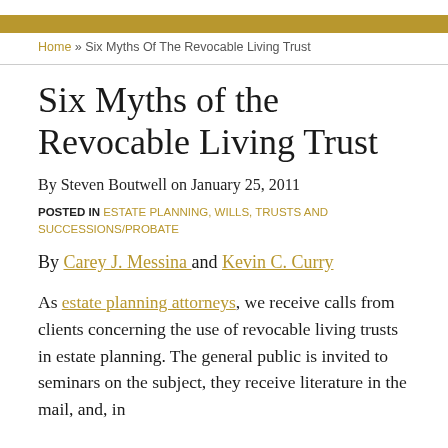Home » Six Myths Of The Revocable Living Trust
Six Myths of the Revocable Living Trust
By Steven Boutwell on January 25, 2011
POSTED IN ESTATE PLANNING, WILLS, TRUSTS AND SUCCESSIONS/PROBATE
By Carey J. Messina and Kevin C. Curry
As estate planning attorneys, we receive calls from clients concerning the use of revocable living trusts in estate planning. The general public is invited to seminars on the subject, they receive literature in the mail, and, in